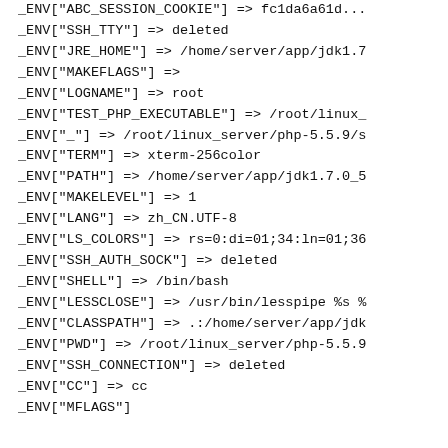_ENV["ABC_SESSION_COOKIE"] => fc1da6a61d...
_ENV["SSH_TTY"] => deleted
_ENV["JRE_HOME"] => /home/server/app/jdk1.7
_ENV["MAKEFLAGS"] =>
_ENV["LOGNAME"] => root
_ENV["TEST_PHP_EXECUTABLE"] => /root/linux_
_ENV["_"] => /root/linux_server/php-5.5.9/s
_ENV["TERM"] => xterm-256color
_ENV["PATH"] => /home/server/app/jdk1.7.0_5
_ENV["MAKELEVEL"] => 1
_ENV["LANG"] => zh_CN.UTF-8
_ENV["LS_COLORS"] => rs=0:di=01;34:ln=01;36
_ENV["SSH_AUTH_SOCK"] => deleted
_ENV["SHELL"] => /bin/bash
_ENV["LESSCLOSE"] => /usr/bin/lesspipe %s %
_ENV["CLASSPATH"] => .:/home/server/app/jdk
_ENV["PWD"] => /root/linux_server/php-5.5.9
_ENV["SSH_CONNECTION"] => deleted
_ENV["CC"] => cc
_ENV["MFLAGS"]